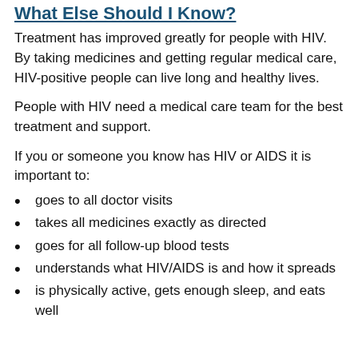What Else Should I Know?
Treatment has improved greatly for people with HIV. By taking medicines and getting regular medical care, HIV-positive people can live long and healthy lives.
People with HIV need a medical care team for the best treatment and support.
If you or someone you know has HIV or AIDS it is important to:
goes to all doctor visits
takes all medicines exactly as directed
goes for all follow-up blood tests
understands what HIV/AIDS is and how it spreads
is physically active, gets enough sleep, and eats well